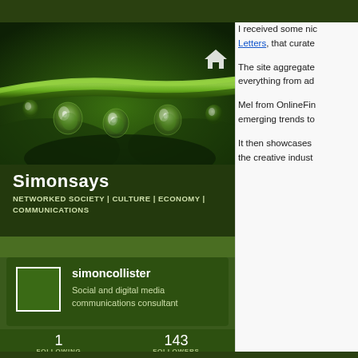[Figure (photo): Close-up macro photo of water droplets hanging from a green plant stem against a dark green background]
Simonsays
NETWORKED SOCIETY | CULTURE | ECONOMY | COMMUNICATIONS
simoncollister
Social and digital media communications consultant
1 FOLLOWING   143 FOLLOWERS
I received some nic Letters, that curate The site aggregate everything from ad Mel from OnlineFin emerging trends to It then showcases the creative indust